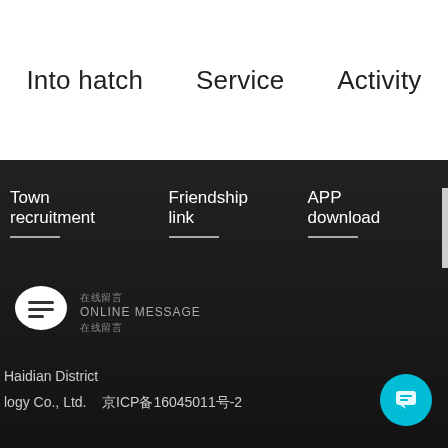Into hatch    Service    Activity
Town recruitment
Friendship link
APP download
[Figure (logo): Speech bubble chat icon with horizontal lines inside, labeled ONLINE MESSAGE]
Haidian District
logy Co., Ltd.    京ICP备16045011号-2